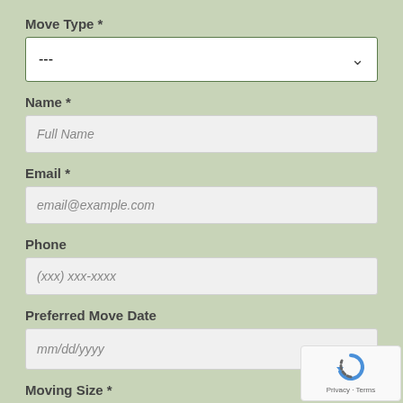Move Type *
---
Name *
Full Name
Email *
email@example.com
Phone
(xxx) xxx-xxxx
Preferred Move Date
mm/dd/yyyy
Moving Size *
---
[Figure (logo): reCAPTCHA badge with Privacy and Terms text]